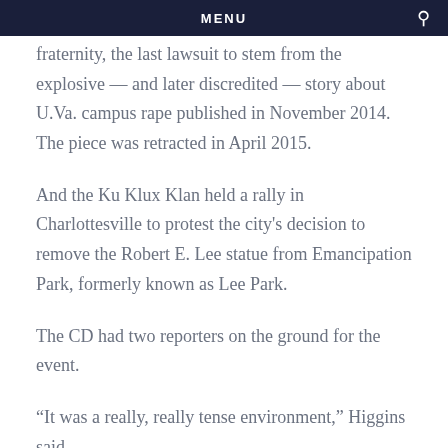MENU
fraternity, the last lawsuit to stem from the explosive — and later discredited — story about U.Va. campus rape published in November 2014. The piece was retracted in April 2015.
And the Ku Klux Klan held a rally in Charlottesville to protest the city's decision to remove the Robert E. Lee statue from Emancipation Park, formerly known as Lee Park.
The CD had two reporters on the ground for the event.
“It was a really, really tense environment,” Higgins said.
Higgins is managing two writers and a “proddie,” who handles graphics and design.